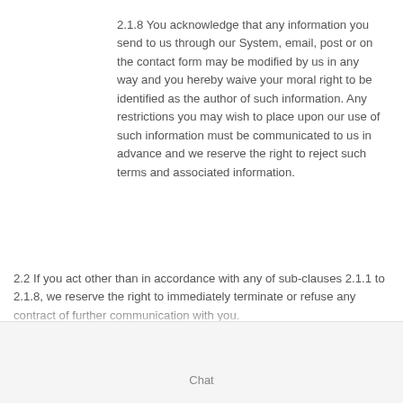2.1.8 You acknowledge that any information you send to us through our System, email, post or on the contact form may be modified by us in any way and you hereby waive your moral right to be identified as the author of such information. Any restrictions you may wish to place upon our use of such information must be communicated to us in advance and we reserve the right to reject such terms and associated information.
2.2 If you act other than in accordance with any of sub-clauses 2.1.1 to 2.1.8, we reserve the right to immediately terminate or refuse any contract of further communication with you.
Chat